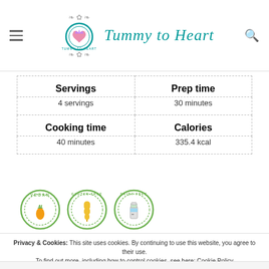Tummy to Heart
| Servings | Prep time | Cooking time | Calories |
| --- | --- | --- | --- |
| 4 servings | 30 minutes |
| 40 minutes | 335.4 kcal |
[Figure (infographic): Three circular diet badge icons: Vegan (with carrot), Gluten Free (with wheat crossed), Dairy Free (with milk bottle)]
Privacy & Cookies: This site uses cookies. By continuing to use this website, you agree to their use. To find out more, including how to control cookies, see here: Cookie Policy
Close and accept